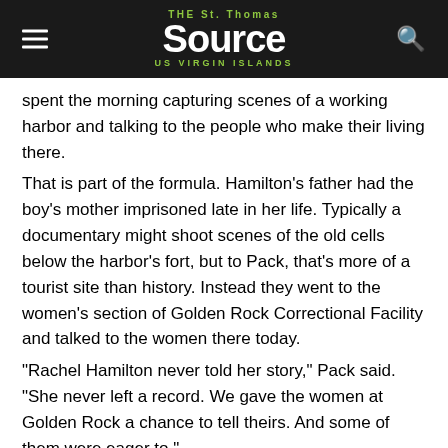THE St. Thomas Source US VIRGIN ISLANDS
spent the morning capturing scenes of a working harbor and talking to the people who make their living there.
That is part of the formula. Hamilton's father had the boy's mother imprisoned late in her life. Typically a documentary might shoot scenes of the old cells below the harbor's fort, but to Pack, that's more of a tourist site than history. Instead they went to the women's section of Golden Rock Correctional Facility and talked to the women there today.
"Rachel Hamilton never told her story," Pack said. "She never left a record. We gave the women at Golden Rock a chance to tell theirs. And some of them were eager to."
Thursday the camera crew was scheduled to captured footage at the Hovensa refinery. Not because there was any oil industry on the island in the mid-18th century. But there was something equally important to that era's world